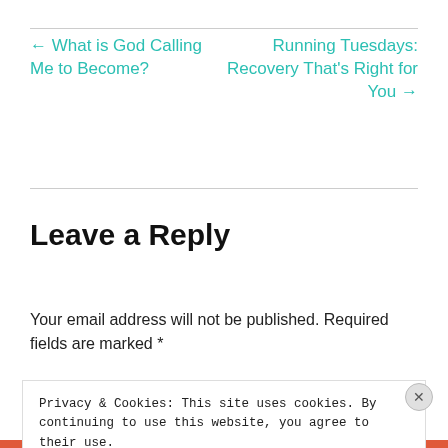← What is God Calling Me to Become?
Running Tuesdays: Recovery That's Right for You →
Leave a Reply
Your email address will not be published. Required fields are marked *
Privacy & Cookies: This site uses cookies. By continuing to use this website, you agree to their use.
To find out more, including how to control cookies, see here: Cookie Policy
Close and accept